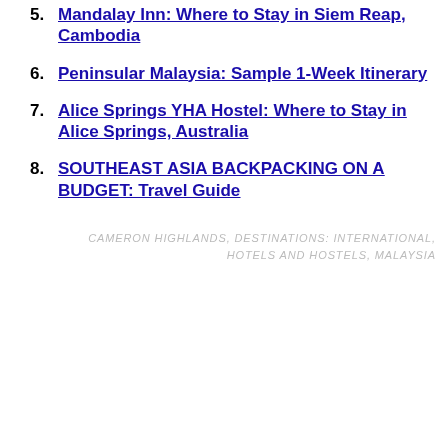5. Mandalay Inn: Where to Stay in Siem Reap, Cambodia
6. Peninsular Malaysia: Sample 1-Week Itinerary
7. Alice Springs YHA Hostel: Where to Stay in Alice Springs, Australia
8. SOUTHEAST ASIA BACKPACKING ON A BUDGET: Travel Guide
CAMERON HIGHLANDS,  DESTINATIONS: INTERNATIONAL,  HOTELS AND HOSTELS,  MALAYSIA